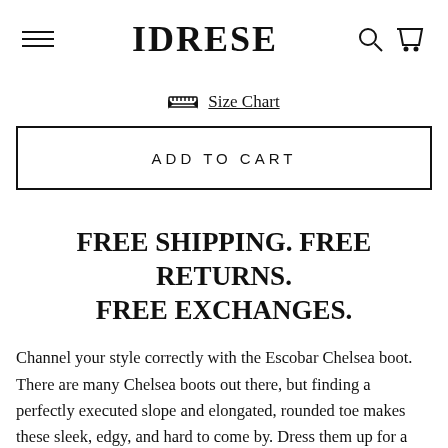IDRESE
📏 Size Chart
ADD TO CART
FREE SHIPPING. FREE RETURNS. FREE EXCHANGES.
Channel your style correctly with the Escobar Chelsea boot. There are many Chelsea boots out there, but finding a perfectly executed slope and elongated, rounded toe makes these sleek, edgy, and hard to come by. Dress them up for a formal event or dress them down to a night out with friends. Versatile. Goodyear welt. Italian Leather. Stacked heel.